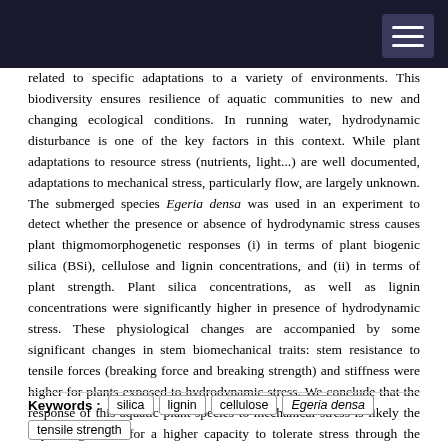related to specific adaptations to a variety of environments. This biodiversity ensures resilience of aquatic communities to new and changing ecological conditions. In running water, hydrodynamic disturbance is one of the key factors in this context. While plant adaptations to resource stress (nutrients, light...) are well documented, adaptations to mechanical stress, particularly flow, are largely unknown. The submerged species Egeria densa was used in an experiment to detect whether the presence or absence of hydrodynamic stress causes plant thigmomorphogenetic responses (i) in terms of plant biogenic silica (BSi), cellulose and lignin concentrations, and (ii) in terms of plant strength. Plant silica concentrations, as well as lignin concentrations were significantly higher in presence of hydrodynamic stress. These physiological changes are accompanied by some significant changes in stem biomechanical traits: stem resistance to tensile forces (breaking force and breaking strength) and stiffness were higher for plants exposed to hydrodynamic stress. We conclude that the response of this aquatic plant species to mechanical stress is likely the explaining factor for a higher capacity to tolerate stress through the production of mechanically hardened shoots.
Keywords : silica | lignin | cellulose | Egeria densa | tensile strength | ...